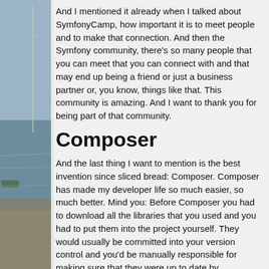And I mentioned it already when I talked about SymfonyCamp, how important it is to meet people and to make that connection. And then the Symfony community, there's so many people that you can meet that you can connect with and that may end up being a friend or just a business partner or, you know, things like that. This community is amazing. And I want to thank you for being part of that community.
Composer
And the last thing I want to mention is the best invention since sliced bread: Composer. Composer has made my developer life so much easier, so much better. Mind you: Before Composer you had to download all the libraries that you used and you had to put them into the project yourself. They would usually be committed into your version control and you'd be manually responsible for making sure that they were up to date by downloading a new version and replacing the old version with the new version.
And the other thing that you needed to do was make sure manually that all of these libraries were compatible with each other and that there weren't any issues between the different libraries, but also between the libraries and the version of PHP